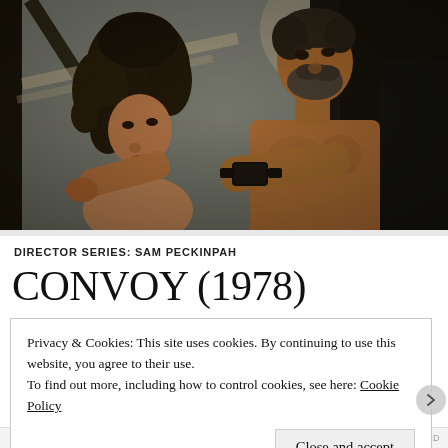[Figure (photo): A still from the 1978 film Convoy showing two people inside a truck cab — a woman with curly hair on the left and a shirtless man with a beard wearing a black watch on the right, leaning out of the truck window. The scene is outdoors in bright sunlight.]
DIRECTOR SERIES: SAM PECKINPAH
CONVOY (1978)
Privacy & Cookies: This site uses cookies. By continuing to use this website, you agree to their use.
To find out more, including how to control cookies, see here: Cookie Policy
Close and accept
REPORT THIS AD